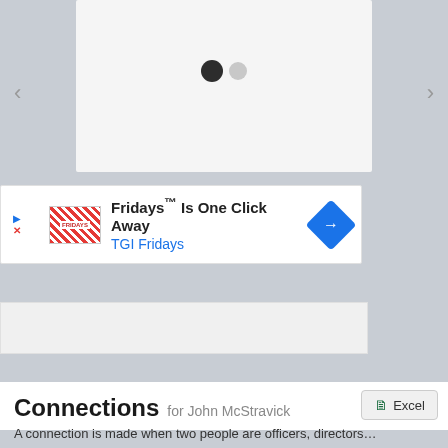[Figure (screenshot): Image carousel with two navigation dots (one filled dark, one light gray) and left/right arrow navigation on a light gray background]
[Figure (screenshot): Advertisement banner: 'Fridays Is One Click Away / TGI Fridays' with logo, blue navigation diamond icon, play button and close icons on left]
[Figure (screenshot): Gray content placeholder box]
Connections for John McStravick
A connection is made when two people are officers, directors...